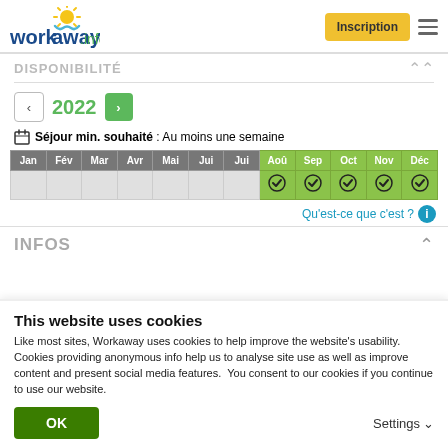[Figure (logo): Workaway.info logo with sun graphic]
Inscription
DISPONIBILITÉ
2022
Séjour min. souhaité : Au moins une semaine
| Jan | Fév | Mar | Avr | Mai | Jun | Jul | Aoû | Sep | Oct | Nov | Déc |
| --- | --- | --- | --- | --- | --- | --- | --- | --- | --- | --- | --- |
|  |  |  |  |  |  |  | ✓ | ✓ | ✓ | ✓ | ✓ |
Qu'est-ce que c'est ?
INFOS
This website uses cookies
Like most sites, Workaway uses cookies to help improve the website's usability. Cookies providing anonymous info help us to analyse site use as well as improve content and present social media features.  You consent to our cookies if you continue to use our website.
OK
Settings